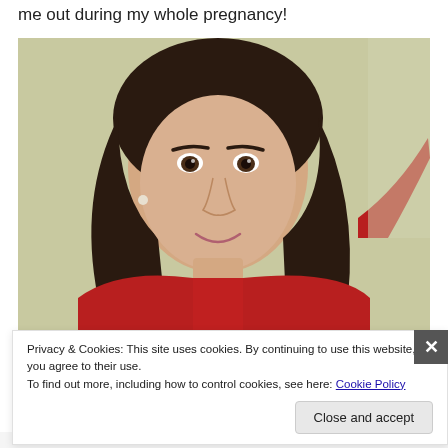me out during my whole pregnancy!
[Figure (photo): Selfie of a woman with long dark hair wearing a red top, smiling at the camera against a light background.]
Privacy & Cookies: This site uses cookies. By continuing to use this website, you agree to their use.
To find out more, including how to control cookies, see here: Cookie Policy
Close and accept